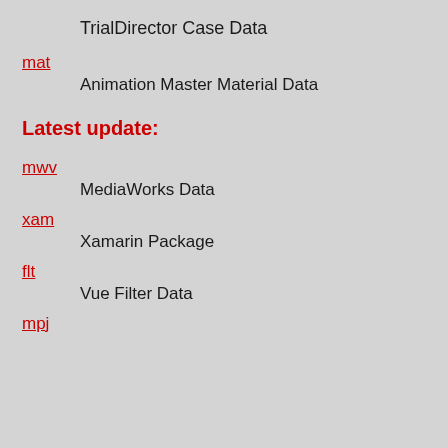TrialDirector Case Data
mat
Animation Master Material Data
Latest update:
mwv
MediaWorks Data
xam
Xamarin Package
flt
Vue Filter Data
mpj